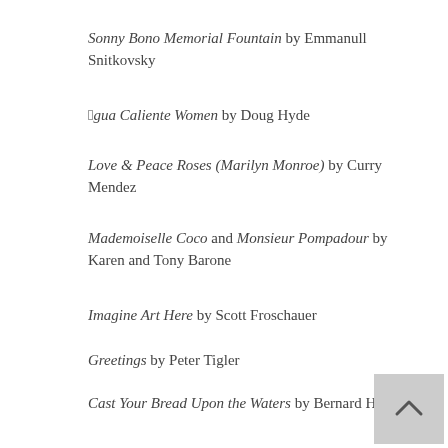Sonny Bono Memorial Fountain by Emmanull Snitkovsky
“Agua Caliente Women by Doug Hyde
Love & Peace Roses (Marilyn Monroe) by Curry Mendez
Mademoiselle Coco and Monsieur Pompadour by Karen and Tony Barone
Imagine Art Here by Scott Froschauer
Greetings by Peter Tigler
Cast Your Bread Upon the Waters by Bernard Hoyes